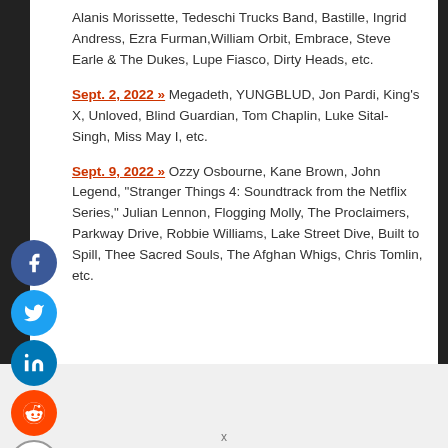Alanis Morissette, Tedeschi Trucks Band, Bastille, Ingrid Andress, Ezra Furman, William Orbit, Embrace, Steve Earle & The Dukes, Lupe Fiasco, Dirty Heads, etc.
Sept. 2, 2022 » Megadeth, YUNGBLUD, Jon Pardi, King's X, Unloved, Blind Guardian, Tom Chaplin, Luke Sital-Singh, Miss May I, etc.
Sept. 9, 2022 » Ozzy Osbourne, Kane Brown, John Legend, "Stranger Things 4: Soundtrack from the Netflix Series," Julian Lennon, Flogging Molly, The Proclaimers, Parkway Drive, Robbie Williams, Lake Street Dive, Built to Spill, Thee Sacred Souls, The Afghan Whigs, Chris Tomlin, etc.